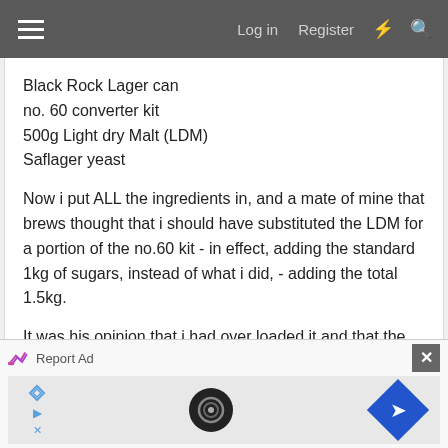Log in  Register
Black Rock Lager can
no. 60 converter kit
500g Light dry Malt (LDM)
Saflager yeast
Now i put ALL the ingredients in, and a mate of mine that brews thought that i should have substituted the LDM for a portion of the no.60 kit - in effect, adding the standard 1kg of sugars, instead of what i did, - adding the total 1.5kg.
It was his opinion that i had over loaded it and that the result would be an off beer with a mountain of